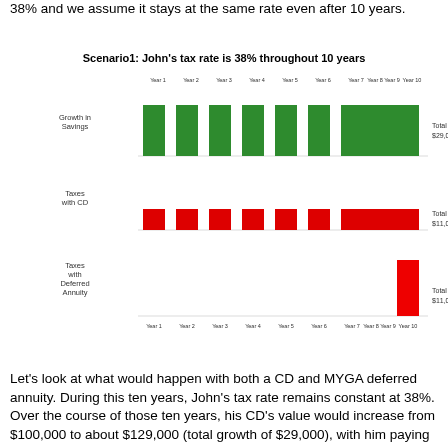38% and we assume it stays at the same rate even after 10 years.
Scenario1: John's tax rate is 38% throughout 10 years
[Figure (grouped-bar-chart): Scenario1: John's tax rate is 38% throughout 10 years]
Let's look at what would happen with both a CD and MYGA deferred annuity. During this ten years, John's tax rate remains constant at 38%. Over the course of those ten years, his CD's value would increase from $100,000 to about $129,000 (total growth of $29,000), with him paying roughly $11,000 in taxes over the course of his term. This